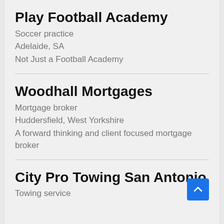Play Football Academy
Soccer practice
Adelaide, SA
Not Just a Football Academy
Woodhall Mortgages
Mortgage broker
Huddersfield, West Yorkshire
A forward thinking and client focused mortgage broker
City Pro Towing San Antonio
Towing service